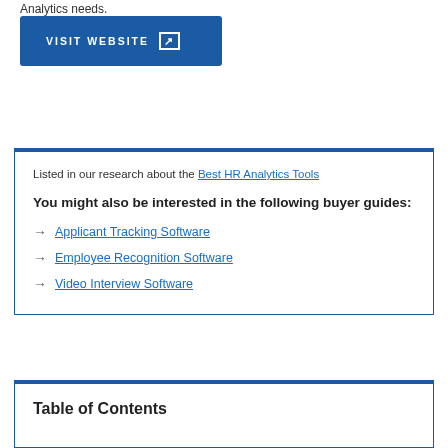Analytics needs.
[Figure (other): Blue 'VISIT WEBSITE' button with external link icon]
Listed in our research about the Best HR Analytics Tools
You might also be interested in the following buyer guides:
Applicant Tracking Software
Employee Recognition Software
Video Interview Software
Table of Contents